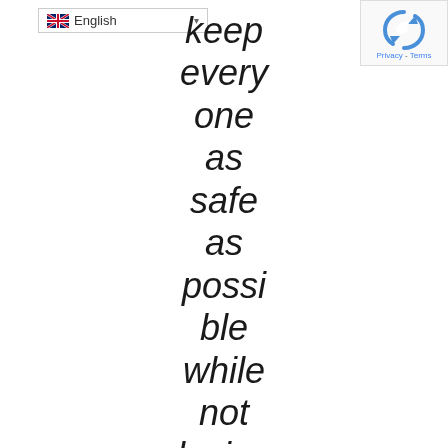[Figure (screenshot): Language selector dropdown showing English with UK flag and dropdown arrow, and a reCAPTCHA widget in the top right corner with a blue/teal refresh icon and Privacy - Terms text.]
keep every one as safe as possi ble while not losing out on